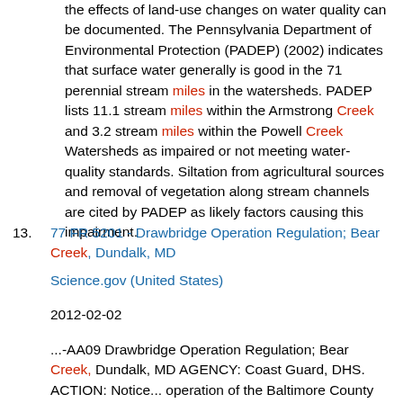the effects of land-use changes on water quality can be documented. The Pennsylvania Department of Environmental Protection (PADEP) (2002) indicates that surface water generally is good in the 71 perennial stream miles in the watersheds. PADEP lists 11.1 stream miles within the Armstrong Creek and 3.2 stream miles within the Powell Creek Watersheds as impaired or not meeting water-quality standards. Siltation from agricultural sources and removal of vegetation along stream channels are cited by PADEP as likely factors causing this impairment.
13. 77 FR 5201 - Drawbridge Operation Regulation; Bear Creek, Dundalk, MD

Science.gov (United States)

2012-02-02

...-AA09 Drawbridge Operation Regulation; Bear Creek, Dundalk, MD AGENCY: Coast Guard, DHS. ACTION: Notice... operation of the Baltimore County highway bridge at Wise Avenue across Bear Creek, mile 3.4, between Dundalk... Avenue across Bear Creek, mile 3.4 between Dundalk and Sparrows Point, MD. This change would require the...